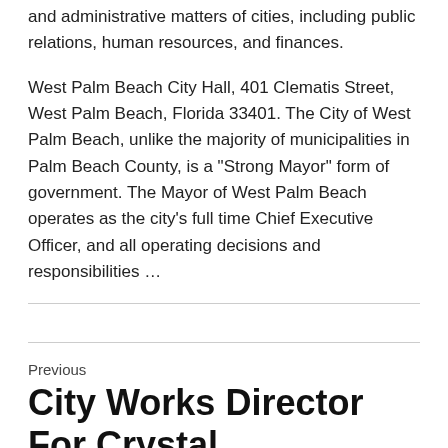and administrative matters of cities, including public relations, human resources, and finances.
West Palm Beach City Hall, 401 Clematis Street, West Palm Beach, Florida 33401. The City of West Palm Beach, unlike the majority of municipalities in Palm Beach County, is a "Strong Mayor" form of government. The Mayor of West Palm Beach operates as the city's full time Chief Executive Officer, and all operating decisions and responsibilities …
Previous
City Works Director For Crystal Di…